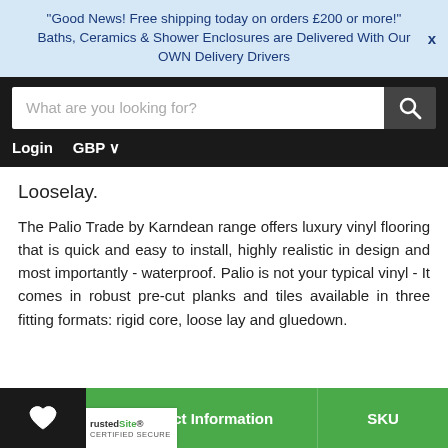"Good News! Free shipping today on orders £200 or more!" X
Baths, Ceramics & Shower Enclosures are Delivered With Our OWN Delivery Drivers
Looselay.
The Palio Trade by Karndean range offers luxury vinyl flooring that is quick and easy to install, highly realistic in design and most importantly - waterproof. Palio is not your typical vinyl - It comes in robust pre-cut planks and tiles available in three fitting formats: rigid core, loose lay and gluedown.
Product Information   SKU